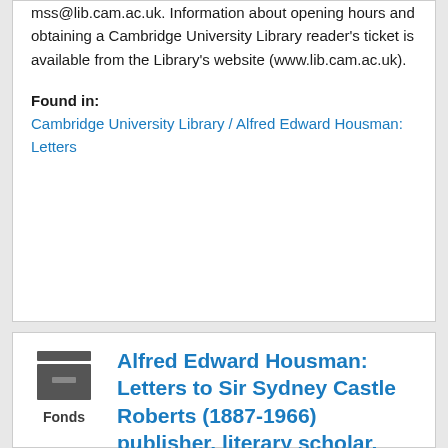mss@lib.cam.ac.uk. Information about opening hours and obtaining a Cambridge University Library reader's ticket is available from the Library's website (www.lib.cam.ac.uk).
Found in: Cambridge University Library / Alfred Edward Housman: Letters
[Figure (illustration): Archive box icon representing Fonds level, with label 'Fonds' below]
Alfred Edward Housman: Letters to Sir Sydney Castle Roberts (1887-1966) publisher, literary scholar, Master of